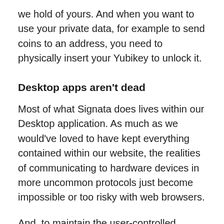we hold of yours. And when you want to use your private data, for example to send coins to an address, you need to physically insert your Yubikey to unlock it.
Desktop apps aren't dead
Most of what Signata does lives within our Desktop application. As much as we would've loved to have kept everything contained within our website, the realities of communicating to hardware devices in more uncommon protocols just become impossible or too risky with web browsers.
And, to maintain the user-controlled security model we have built, leaving cryptographic operations on